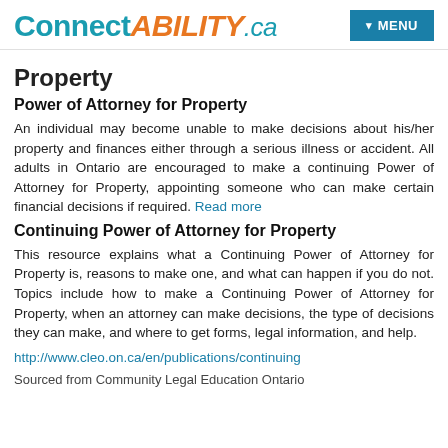ConnectABILITY.ca — MENU
Property
Power of Attorney for Property
An individual may become unable to make decisions about his/her property and finances either through a serious illness or accident. All adults in Ontario are encouraged to make a continuing Power of Attorney for Property, appointing someone who can make certain financial decisions if required. Read more
Continuing Power of Attorney for Property
This resource explains what a Continuing Power of Attorney for Property is, reasons to make one, and what can happen if you do not. Topics include how to make a Continuing Power of Attorney for Property, when an attorney can make decisions, the type of decisions they can make, and where to get forms, legal information, and help.
http://www.cleo.on.ca/en/publications/continuing
Sourced from Community Legal Education Ontario